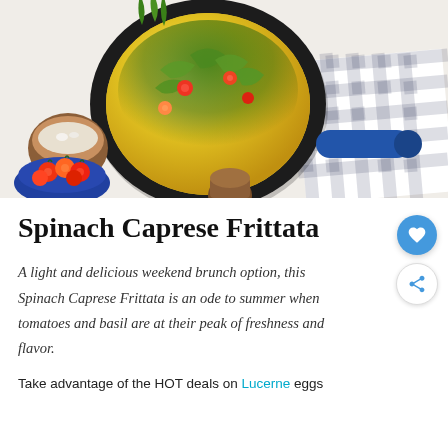[Figure (photo): Overhead photo of a spinach caprese frittata in a dark cast iron skillet with blue handle, garnished with tomatoes and fresh herbs, surrounded by a blue bowl of cherry tomatoes, a wooden bowl of salt, a wooden jar, and a black-and-white gingham cloth napkin on a white surface.]
Spinach Caprese Frittata
A light and delicious weekend brunch option, this Spinach Caprese Frittata is an ode to summer when tomatoes and basil are at their peak of freshness and flavor.
Take advantage of the HOT deals on Lucerne eggs